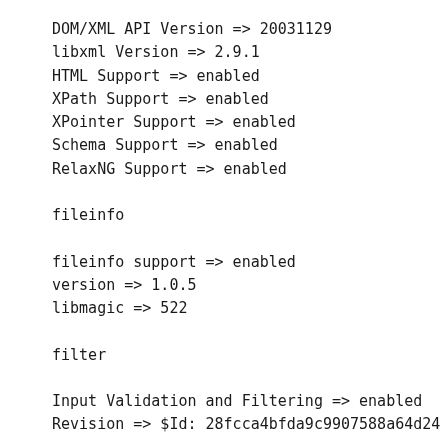DOM/XML API Version => 20031129
libxml Version => 2.9.1
HTML Support => enabled
XPath Support => enabled
XPointer Support => enabled
Schema Support => enabled
RelaxNG Support => enabled
fileinfo
fileinfo support => enabled
version => 1.0.5
libmagic => 522
filter
Input Validation and Filtering => enabled
Revision => $Id: 28fcca4bfda9c9907588a64d24